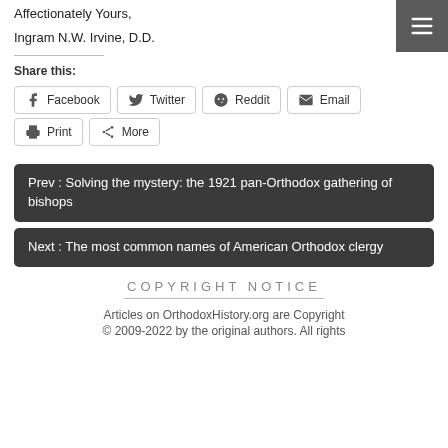Affectionately Yours,
Ingram N.W. Irvine, D.D.
Share this:
Facebook  Twitter  Reddit  Email  Print  More
Prev : Solving the mystery: the 1921 pan-Orthodox gathering of bishops
Next : The most common names of American Orthodox clergy
COPYRIGHT NOTICE
Articles on OrthodoxHistory.org are Copyright © 2009-2022 by the original authors. All rights